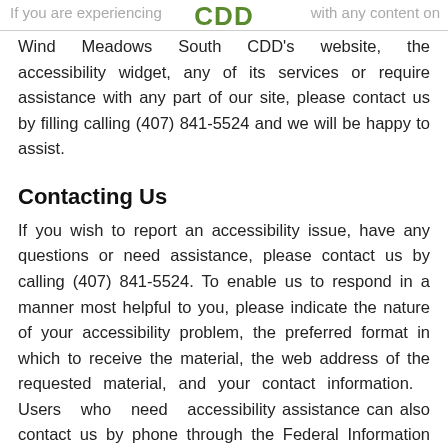If you are experiencing CDD with any content on
Wind Meadows South CDD's website, the accessibility widget, any of its services or require assistance with any part of our site, please contact us by filling calling (407) 841-5524 and we will be happy to assist.
Contacting Us
If you wish to report an accessibility issue, have any questions or need assistance, please contact us by calling (407) 841-5524. To enable us to respond in a manner most helpful to you, please indicate the nature of your accessibility problem, the preferred format in which to receive the material, the web address of the requested material, and your contact information. Users who need accessibility assistance can also contact us by phone through the Federal Information Relay Service at 1-800-877-